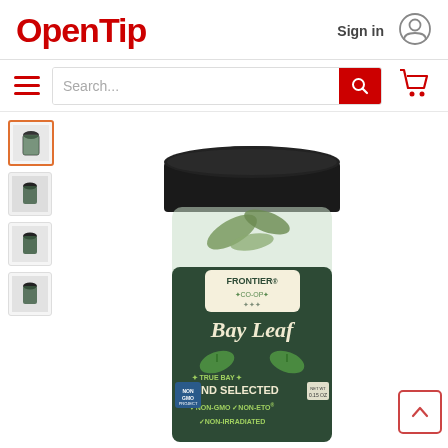[Figure (logo): OpenTip logo in red bold text]
Sign in
[Figure (illustration): User account circle icon]
[Figure (illustration): Hamburger menu icon (three red horizontal lines)]
Search...
[Figure (illustration): Red search button with magnifying glass icon]
[Figure (illustration): Red shopping cart icon]
[Figure (photo): Frontier Co-op Bay Leaf jar with black lid, labeled: FRONTIER CO-OP, Bay Leaf, TRUE BAY HAND SELECTED, NON-GMO, NON-ETO, NON-IRRADIATED]
[Figure (photo): Small thumbnail of Frontier Co-op Bay Leaf jar (selected/active)]
[Figure (photo): Small thumbnail of Frontier Co-op product, dark label]
[Figure (photo): Small thumbnail of Frontier Co-op product]
[Figure (photo): Small thumbnail of Frontier Co-op product]
[Figure (illustration): Back to top button — red chevron up arrow inside red-bordered square]